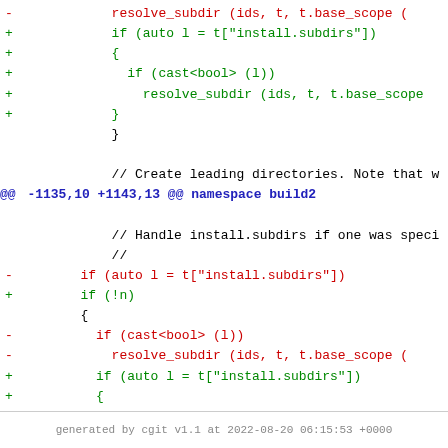[Figure (screenshot): Git diff code block showing changes to C++ source code with red (removed) and green (added) lines, and a blue @@ hunk header for namespace build2]
generated by cgit v1.1 at 2022-08-20 06:15:53 +0000